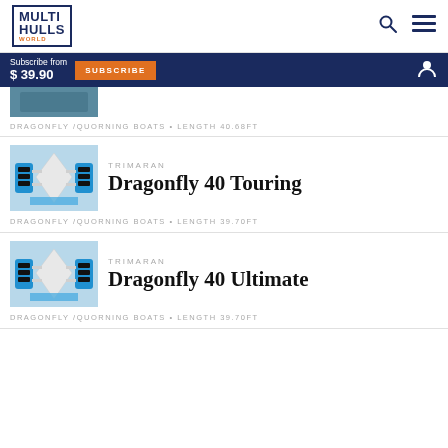MULTI HULLS WORLD — Subscribe from $39.90
[Figure (screenshot): Partial boat image at top of list]
DRAGONFLY / QUORNING BOATS • LENGTH 40.68FT
[Figure (illustration): Dragonfly 40 Touring trimaran top-view illustration]
TRIMARAN
Dragonfly 40 Touring
DRAGONFLY / QUORNING BOATS • LENGTH 39.70FT
[Figure (illustration): Dragonfly 40 Ultimate trimaran top-view illustration]
TRIMARAN
Dragonfly 40 Ultimate
DRAGONFLY / QUORNING BOATS • LENGTH 39.70FT